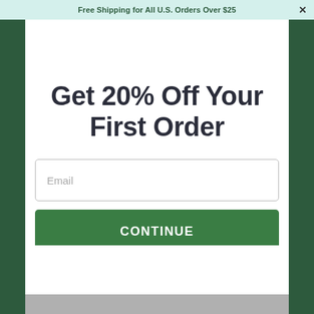Free Shipping for All U.S. Orders Over $25
Get 20% Off Your First Order
Email
CONTINUE